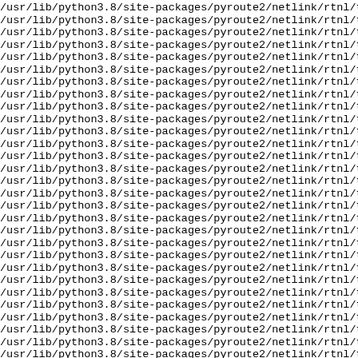/usr/lib/python3.8/site-packages/pyroute2/netlink/rtnl/tc (repeated ~29 times, truncated at right edge)